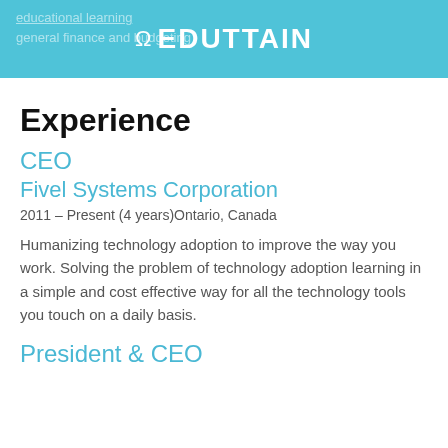EDUTTAIN
Experience
CEO
Fivel Systems Corporation
2011 – Present (4 years)Ontario, Canada
Humanizing technology adoption to improve the way you work. Solving the problem of technology adoption learning in a simple and cost effective way for all the technology tools you touch on a daily basis.
President & CEO